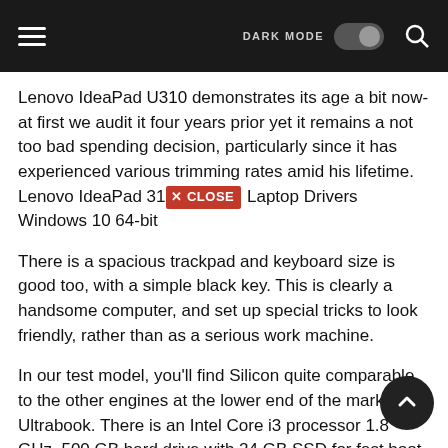≡  DARK MODE [toggle]  🔍
Lenovo IdeaPad U310 demonstrates its age a bit now-at first we audit it four years prior yet it remains a not too bad spending decision, particularly since it has experienced various trimming rates amid his lifetime. Lenovo IdeaPad 310 [X CLOSE] Laptop Drivers Windows 10 64-bit
There is a spacious trackpad and keyboard size is good too, with a simple black key. This is clearly a handsome computer, and set up special tricks to look friendly, rather than as a serious work machine.
In our test model, you'll find Silicon quite comparable to the other engines at the lower end of the market Ultrabook. There is an Intel Core i3 processor 1.8 GHz, 500 GB hard drive with 24 GB SSD for fast boot and